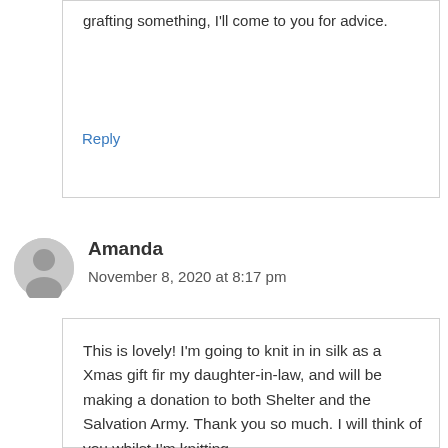grafting something, I'll come to you for advice.
Reply
Amanda
November 8, 2020 at 8:17 pm
This is lovely! I'm going to knit in in silk as a Xmas gift fir my daughter-in-law, and will be making a donation to both Shelter and the Salvation Army. Thank you so much. I will think of you whilst I'm knitting.